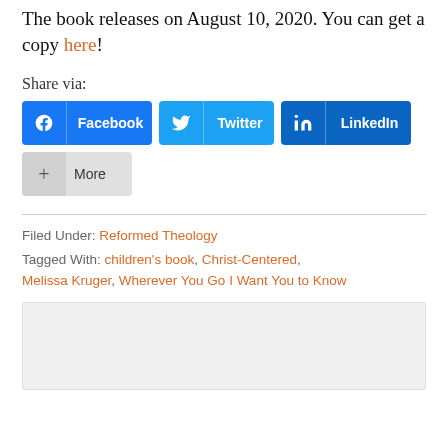The book releases on August 10, 2020. You can get a copy here!
Share via:
[Figure (other): Social share buttons: Facebook, Twitter, LinkedIn, and More]
Filed Under: Reformed Theology
Tagged With: children's book, Christ-Centered, Melissa Kruger, Wherever You Go I Want You to Know
[Figure (other): Gray placeholder box]